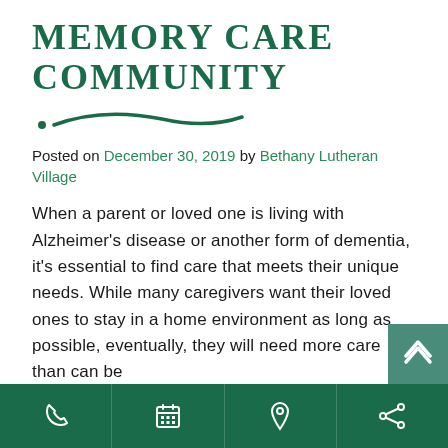MEMORY CARE COMMUNITY
[Figure (illustration): Decorative dark green tilde/wave divider with a dot on the left]
Posted on December 30, 2019 by Bethany Lutheran Village
When a parent or loved one is living with Alzheimer's disease or another form of dementia, it's essential to find care that meets their unique needs. While many caregivers want their loved ones to stay in a home environment as long as possible, eventually, they will need more care than can be
Phone | Calendar | Location | Share navigation bar